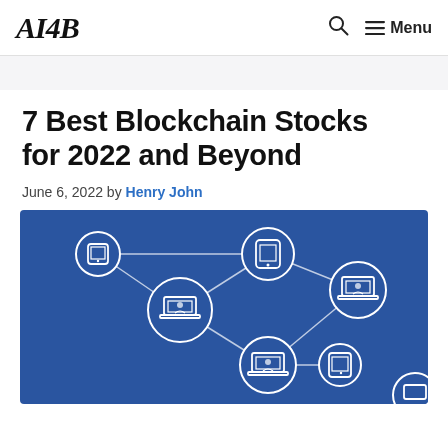AI4B  [search icon]  ☰ Menu
7 Best Blockchain Stocks for 2022 and Beyond
June 6, 2022 by Henry John
[Figure (illustration): Blue blockchain network diagram showing interconnected nodes with icons of laptops and mobile devices connected by white lines on a blue background]